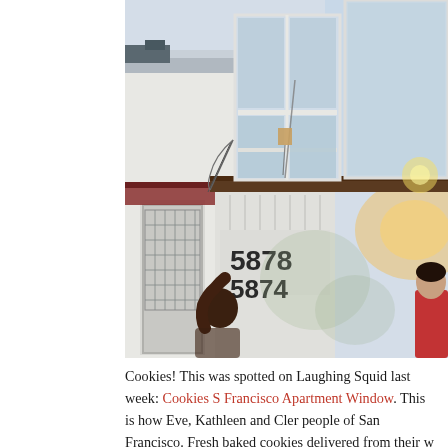[Figure (photo): Photograph of a San Francisco apartment building exterior. The building is white/light gray with large bay windows on the upper floor. Address numbers 5878 and 5874 are visible on the lower facade. A person is visible at the bottom right in a red top, and another person appears to be reaching up toward the window. A string or pulley system is visible hanging from the upper window, apparently being used to lower cookies to people on the street below.]
Cookies! This was spotted on Laughing Squid last week: Cookies S Francisco Apartment Window. This is how Eve, Kathleen and Cler people of San Francisco. Fresh baked cookies delivered from their w